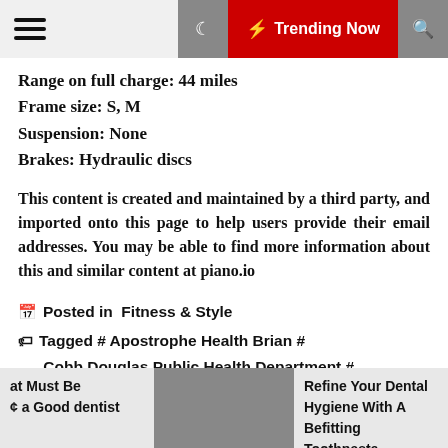≡  ☾  ⚡ Trending Now  🔍
Range on full charge: 44 miles
Frame size: S, M
Suspension: None
Brakes: Hydraulic discs
This content is created and maintained by a third party, and imported onto this page to help users provide their email addresses. You may be able to find more information about this and similar content at piano.io
Posted in  Fitness & Style
Tagged # Apostrophe Health Brian # Cobb Douglas Public Health Department # Cpap Health Market # Cvs Affordable Health Insurance # Delegation In Public Health # Envoy Health Denton Autumn Lake # Fairview Health Services Yelp #
at Must Be  ¢ a Good dentist  |  Refine Your Dental Hygiene With A Befitting Toothpaste